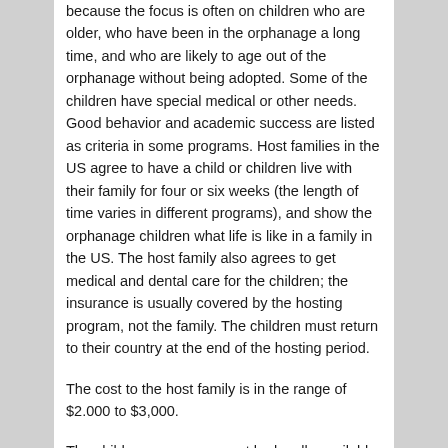because the focus is often on children who are older, who have been in the orphanage a long time, and who are likely to age out of the orphanage without being adopted. Some of the children have special medical or other needs. Good behavior and academic success are listed as criteria in some programs. Host families in the US agree to have a child or children live with their family for four or six weeks (the length of time varies in different programs), and show the orphanage children what life is like in a family in the US. The host family also agrees to get medical and dental care for the children; the insurance is usually covered by the hosting program, not the family. The children must return to their country at the end of the hosting period.
The cost to the host family is in the range of $2.000 to $3,000.
The children may or may not be legally available for adoption. And here is where things are murky. While some host programs are seen as "cultural experiences" and some are to share Christian faith, their underlying purpose